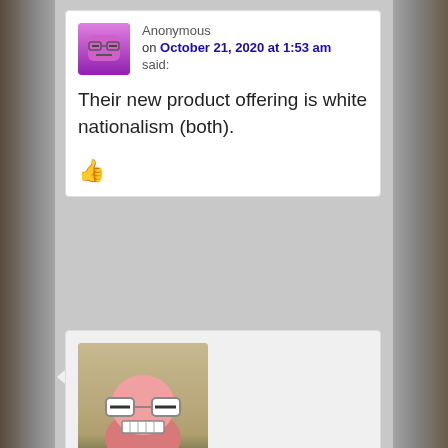Anonymous on October 21, 2020 at 1:53 am said:
Their new product offering is white nationalism (both).
elkern on October 21, 2020 at 5:22 pm said: